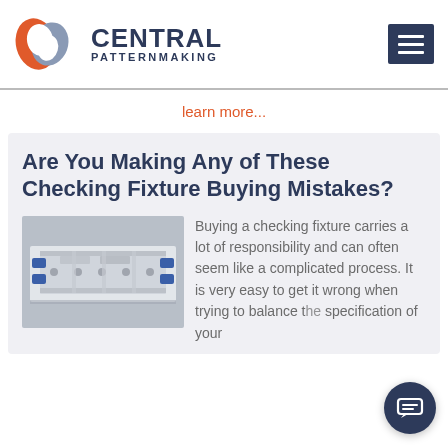[Figure (logo): Central Patternmaking logo with red/grey swirl icon and dark navy text]
learn more...
Are You Making Any of These Checking Fixture Buying Mistakes?
[Figure (photo): Photo of a checking fixture on a metallic surface with blue clamps and mechanical components]
Buying a checking fixture carries a lot of responsibility and can often seem like a complicated process. It is very easy to get it wrong when trying to balance the specification of your